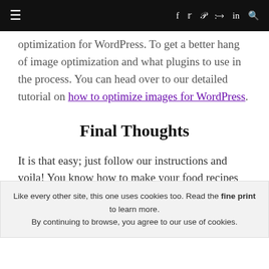≡  f  𝕏  𝕡  ⊕  in  🔍
optimization for WordPress. To get a better hang of image optimization and what plugins to use in the process. You can head over to our detailed tutorial on how to optimize images for WordPress.
Final Thoughts
It is that easy; just follow our instructions and voila! You know how to make your food recipes blog with WordPress. Creating your recipes blog isn't complicated, even if you haven't dealt with websites
Like every other site, this one uses cookies too. Read the fine print to learn more. By continuing to browse, you agree to our use of cookies.